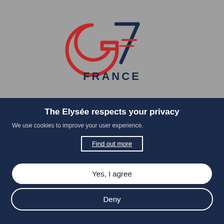[Figure (logo): G7 France logo with red circular G and dark blue 7, with FRANCE text below, on a grey background]
The Elysée respects your privacy
We use cookies to improve your user experience.
Find out more
Yes, I agree
Deny